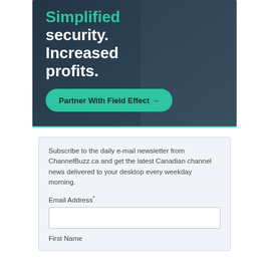[Figure (illustration): Advertisement banner with dark blue background showing a man in glasses thinking. Text reads 'Simplified security. Increased profits.' with a teal/green button 'Partner With Field Effect →']
Subscribe to the daily e-mail newsletter from ChannelBuzz.ca and get the latest Canadian channel news delivered to your desktop every weekday morning.
Email Address*
First Name